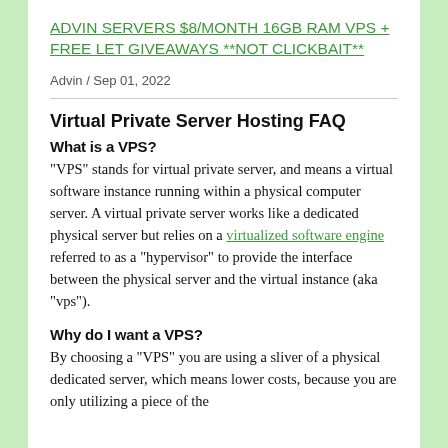ADVIN SERVERS $8/MONTH 16GB RAM VPS + FREE LET GIVEAWAYS **NOT CLICKBAIT**
Advin / Sep 01, 2022
Virtual Private Server Hosting FAQ
What is a VPS?
"VPS" stands for virtual private server, and means a virtual software instance running within a physical computer server. A virtual private server works like a dedicated physical server but relies on a virtualized software engine referred to as a "hypervisor" to provide the interface between the physical server and the virtual instance (aka "vps").
Why do I want a VPS?
By choosing a "VPS" you are using a sliver of a physical dedicated server, which means lower costs, because you are only utilizing a piece of the